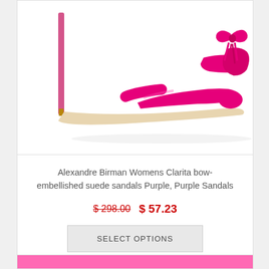[Figure (photo): Hot pink/magenta Alexandre Birman high-heel sandal with bow embellishment, shown against white background, cropped at top of page]
Alexandre Birman Womens Clarita bow-embellished suede sandals Purple, Purple Sandals
$ 298.00  $ 57.23
SELECT OPTIONS